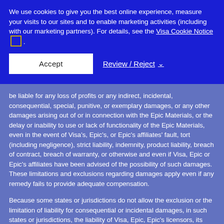We use cookies to give you the best online experience, measure your visits to our sites and to enable marketing activities (including with our marketing partners). For details, see the Visa Cookie Notice .
Accept | Review / Reject
be liable for any loss of profits or any indirect, incidental, consequential, special, punitive, or exemplary damages, or any other damages arising out of or in connection with the Epic Materials, or the delay or inability to use or lack of functionality of the Epic Materials, even in the event of Visa's, Epic's, or Epic's affiliates' fault, tort (including negligence), strict liability, indemnity, product liability, breach of contract, breach of warranty, or otherwise and even if Visa, Epic or Epic's affiliates have been advised of the possibility of such damages. These limitations and exclusions regarding damages apply even if any remedy fails to provide adequate compensation.
Because some states or jurisdictions do not allow the exclusion or the limitation of liability for consequential or incidental damages, in such states or jurisdictions, the liability of Visa, Epic, Epic's licensors, its and their affiliates, and any of Visa's or Epic's service providers shall be limited